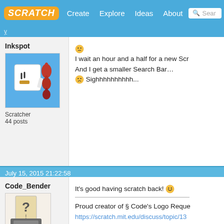[Figure (screenshot): Scratch website navigation bar with logo, Create, Explore, Ideas, About links and search bar]
Inkspot
[Figure (illustration): Scratch avatar showing a white square character with red rabbits on blue background]
Scratcher
44 posts
I wait an hour and a half for a new Scr...
And I get a smaller Search Bar…
Sighhhhhhhhhh...
July 15, 2015 21:22:58
Code_Bender
[Figure (illustration): Scratch default avatar showing a question mark paper on a grey box]
Scratcher
100+ posts
It's good having scratch back!
Proud creator of § Code's Logo Reque...
https://scratch.mit.edu/discuss/topic/13...